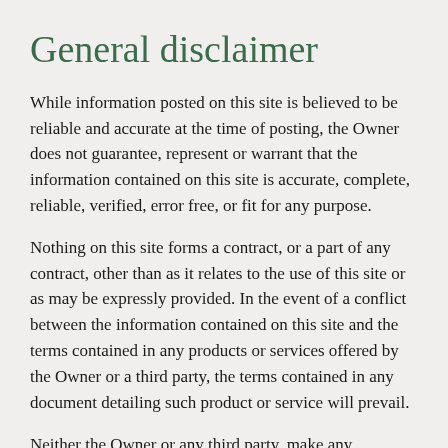General disclaimer
While information posted on this site is believed to be reliable and accurate at the time of posting, the Owner does not guarantee, represent or warrant that the information contained on this site is accurate, complete, reliable, verified, error free, or fit for any purpose.
Nothing on this site forms a contract, or a part of any contract, other than as it relates to the use of this site or as may be expressly provided. In the event of a conflict between the information contained on this site and the terms contained in any products or services offered by the Owner or a third party, the terms contained in any document detailing such product or service will prevail.
Neither the Owner or any third party, make any